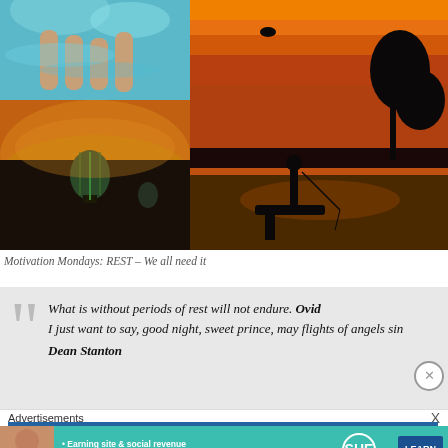[Figure (photo): Collage of three photos: top-left shows feet/legs in turquoise water, bottom-left shows hot air balloons at sunset with golden clouds, right side shows a silhouette of a person fishing at a lake during a vivid orange and red sunset.]
Motivation Mondays: REST – We all need it
What is without periods of rest will not endure. Ovid
I just want to say, good night, sweet prince, may flights of angels sin…
Dean Stanton
Advertisements
[Figure (infographic): SHE Partner Network advertisement banner. Features a woman, bullet points: Earning site & social revenue, Traffic growth, Speaking on our stages. SHE logo with PARTNER NETWORK and BECOME A MEMBER text. LEARN MORE button.]